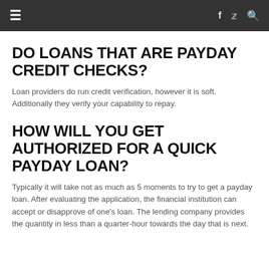≡  f  🐦  🔍
DO LOANS THAT ARE PAYDAY CREDIT CHECKS?
Loan providers do run credit verification, however it is soft. Additionally they verify your capability to repay.
HOW WILL YOU GET AUTHORIZED FOR A QUICK PAYDAY LOAN?
Typically it will take not as much as 5 moments to try to get a payday loan. After evaluating the application, the financial institution can accept or disapprove of one's loan. The lending company provides the quantity in less than a quarter-hour towards the day that is next.